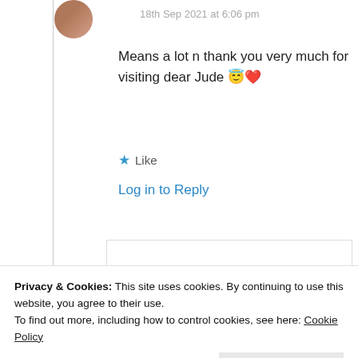18th Sep 2021 at 6:06 pm
Means a lot n thank you very much for visiting dear Jude 😇❤️
★ Like
Log in to Reply
judeitakali
Privacy & Cookies: This site uses cookies. By continuing to use this website, you agree to their use.
To find out more, including how to control cookies, see here: Cookie Policy
Close and accept